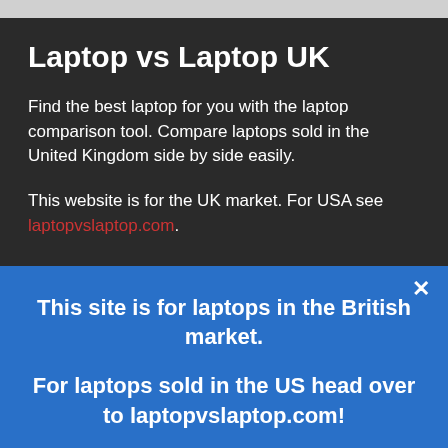Laptop vs Laptop UK
Find the best laptop for you with the laptop comparison tool. Compare laptops sold in the United Kingdom side by side easily.
This website is for the UK market. For USA see laptopvslaptop.com.
This site is for laptops in the British market.
For laptops sold in the US head over to laptopvslaptop.com!
Find US laptops